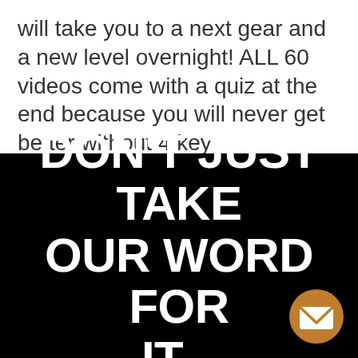will take you to a next gear and a new level overnight! ALL 60 videos come with a quiz at the end because you will never get better without 4 key ingredients...
DON'T JUST TAKE OUR WORD FOR IT...
[Figure (other): Orange circular email/contact button icon with envelope symbol]